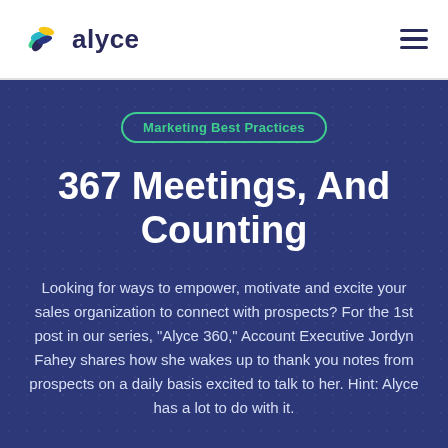alyce
Marketing Best Practices
367 Meetings, And Counting
Looking for ways to empower, motivate and excite your sales organization to connect with prospects? For the 1st post in our series, "Alyce 360," Account Executive Jordyn Fahey shares how she wakes up to thank you notes from prospects on a daily basis excited to talk to her. Hint: Alyce has a lot to do with it.